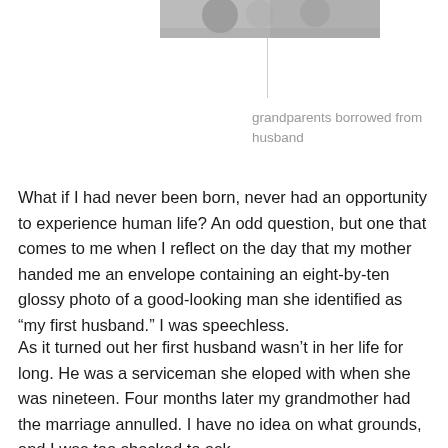[Figure (photo): Black and white photograph partially visible at top of page, cropped]
grandparents borrowed from husband
What if I had never been born, never had an opportunity to experience human life?  An odd question, but one that comes to me when I reflect on the day that my mother handed me an envelope containing an eight-by-ten glossy photo of a good-looking man she identified as “my first husband.” I was speechless.
As it turned out her first husband wasn’t in her life for long.  He was a serviceman she eloped with when she was nineteen. Four months later my grandmother had the marriage annulled. I have no idea on what grounds, and I was too shocked to ask.